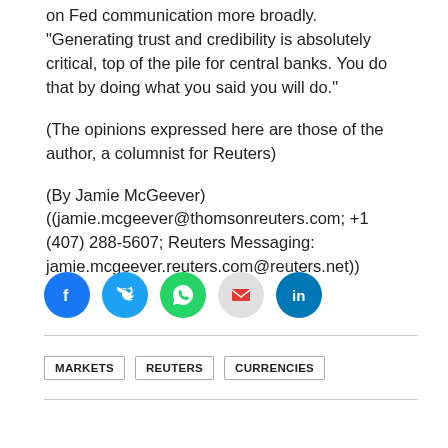on Fed communication more broadly. "Generating trust and credibility is absolutely critical, top of the pile for central banks. You do that by doing what you said you will do."
(The opinions expressed here are those of the author, a columnist for Reuters)
(By Jamie McGeever)
((jamie.mcgeever@thomsonreuters.com; +1 (407) 288-5607; Reuters Messaging: jamie.mcgeever.reuters.com@reuters.net))
[Figure (infographic): Social media sharing icons: Facebook (blue), Twitter (blue), WhatsApp (green), Email (red envelope on grey), LinkedIn (blue)]
MARKETS   REUTERS   CURRENCIES